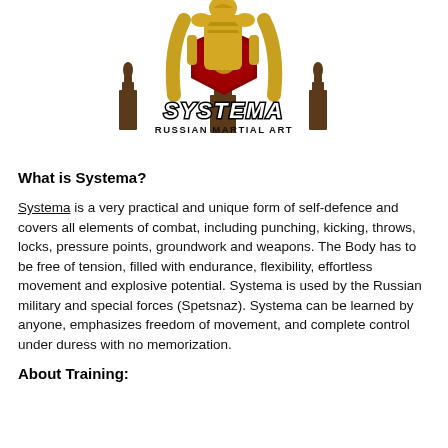[Figure (logo): Systema Russian Martial Art logo — a warrior figure in golden armor holding a shield with a lion crest, standing in front of stylized Russian architecture. Below the figure the word SYSTEMA appears in bold stylized letters, and beneath that RUSSIAN MARTIAL ART in smaller bold capitals.]
What is Systema?
Systema is a very practical and unique form of self-defence and covers all elements of combat, including punching, kicking, throws, locks, pressure points, groundwork and weapons. The Body has to be free of tension, filled with endurance, flexibility, effortless movement and explosive potential. Systema is used by the Russian military and special forces (Spetsnaz). Systema can be learned by anyone, emphasizes freedom of movement, and complete control under duress with no memorization.
About Training: